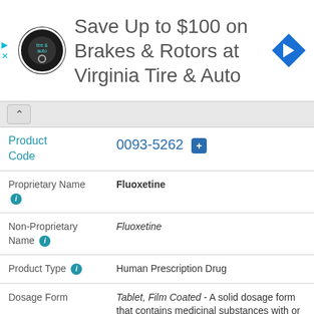[Figure (screenshot): Advertisement banner for Virginia Tire & Auto - Save Up to $100 on Brakes & Rotors]
| Field | Value |
| --- | --- |
| Product Code | 0093-5262 |
| Proprietary Name | Fluoxetine |
| Non-Proprietary Name | Fluoxetine |
| Product Type | Human Prescription Drug |
| Dosage Form | Tablet, Film Coated - A solid dosage form that contains medicinal substances with or without suitable diluents and is coated with a thin layer of a water-insoluble or water-soluble polymer. |